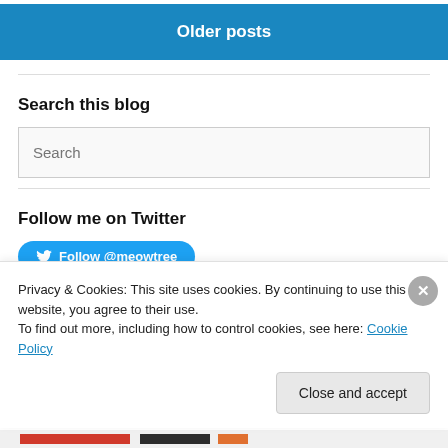Older posts
Search this blog
Search
Follow me on Twitter
Follow @meowtree
Privacy & Cookies: This site uses cookies. By continuing to use this website, you agree to their use.
To find out more, including how to control cookies, see here: Cookie Policy
Close and accept